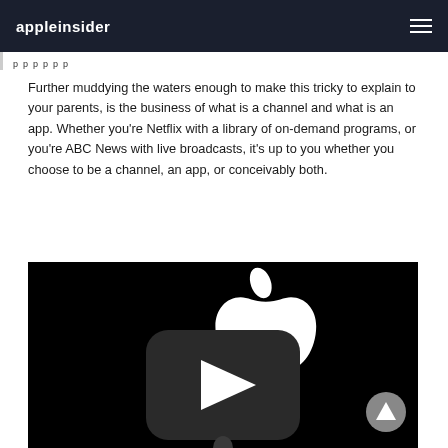appleinsider
p p p pp
Further muddying the waters enough to make this tricky to explain to your parents, is the business of what is a channel and what is an app. Whether you're Netflix with a library of on-demand programs, or you're ABC News with live broadcasts, it's up to you whether you choose to be a channel, an app, or conceivably both.
[Figure (photo): Dark presentation stage with large Apple logo (white) above an Apple TV app icon (dark rounded square with white play button triangle). A presenter stands at the bottom center of the image. A grey scroll-to-top button appears in the bottom right corner.]